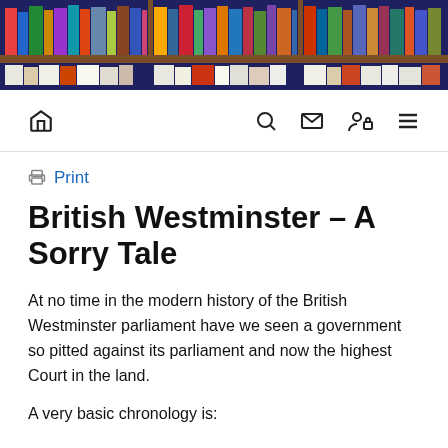[Figure (photo): Bookshelf banner image showing rows of books on wooden shelves against a dark blue/navy background]
Navigation bar with home, search, email, user/login, and menu icons
Print
British Westminster – A Sorry Tale
At no time in the modern history of the British Westminster parliament have we seen a government so pitted against its parliament and now the highest Court in the land.
A very basic chronology is: